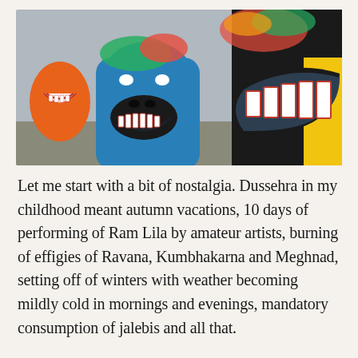[Figure (photo): A group of large, colorful papier-mâché demon heads/effigies with open mouths showing white teeth outlined in red/pink. The figures are painted in bright colors including blue, orange, yellow, and black. They appear to be Ravana effigies made for Dussehra festival celebrations.]
Let me start with a bit of nostalgia. Dussehra in my childhood meant autumn vacations, 10 days of performing of Ram Lila by amateur artists, burning of effigies of Ravana, Kumbhakarna and Meghnad, setting off of winters with weather becoming mildly cold in mornings and evenings, mandatory consumption of jalebis and all that.